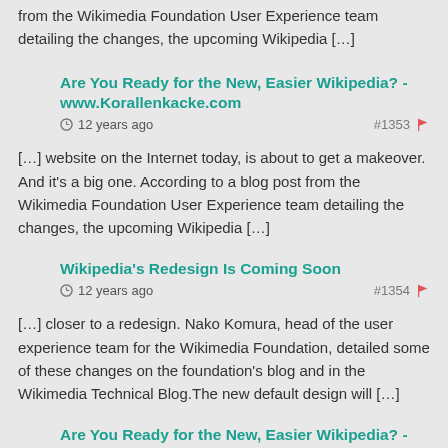from the Wikimedia Foundation User Experience team detailing the changes, the upcoming Wikipedia […]
Are You Ready for the New, Easier Wikipedia? - www.Korallenkacke.com
12 years ago
#1353
[…] website on the Internet today, is about to get a makeover. And it's a big one. According to a blog post from the Wikimedia Foundation User Experience team detailing the changes, the upcoming Wikipedia […]
Wikipedia's Redesign Is Coming Soon
12 years ago
#1354
[…] closer to a redesign. Nako Komura, head of the user experience team for the Wikimedia Foundation, detailed some of these changes on the foundation's blog and in the Wikimedia Technical Blog.The new default design will […]
Are You Ready for the New, Easier Wikipedia? - www.Korallenkacke.com